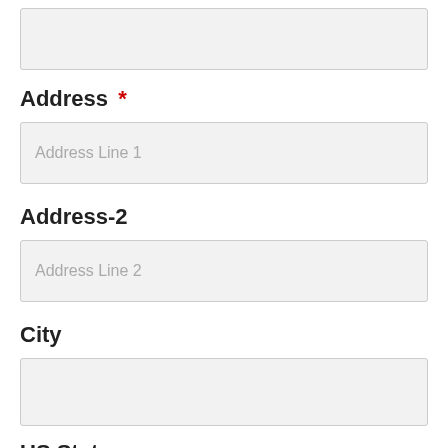[Figure (other): Empty text input field at the top of the form]
Address *
[Figure (other): Text input field with placeholder 'Address Line 1']
Address-2
[Figure (other): Text input field with placeholder 'Address Line 2']
City
[Figure (other): Empty text input field for city]
US States
[Figure (other): Dropdown select field with placeholder '- Select State -' and chevron icon]